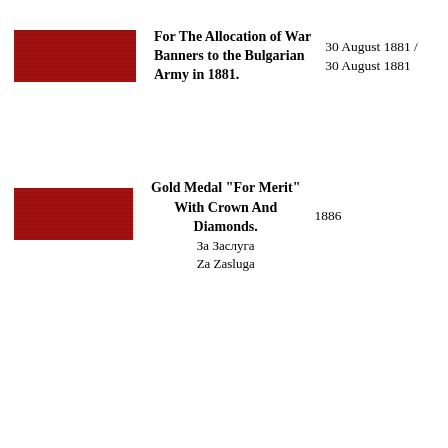[Figure (illustration): Red ribbon/medal bar with horizontal stripe texture, first entry]
For The Allocation of War Banners to the Bulgarian Army in 1881.
30 August 1881 / 30 August 1881
[Figure (illustration): Red ribbon/medal bar with horizontal stripe texture, second entry]
Gold Medal "For Merit" With Crown And Diamonds. За Заслуга Za Zasluga
1886